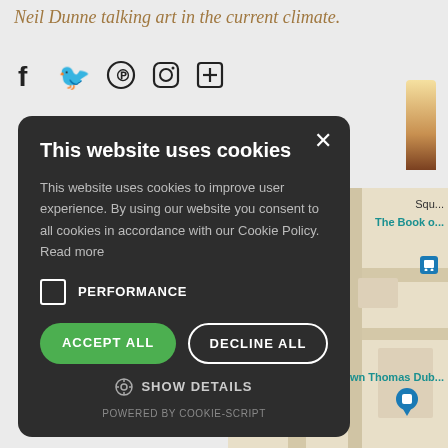Neil Dunne talking art in the current climate.
[Figure (screenshot): Social media sharing icons: Facebook, Twitter, Pinterest, Instagram, and a plus/share icon]
[Figure (screenshot): Cookie consent modal with dark background. Title: 'This website uses cookies'. Body text about cookie policy. Performance checkbox unchecked. Accept All (green) and Decline All (dark outlined) buttons. Show Details option. Powered by Cookie-Script footer.]
[Figure (map): Background map showing Dublin area with labels including 'Squ...', 'The Book o...', 'own Thomas Dub...' and bus stop icons]